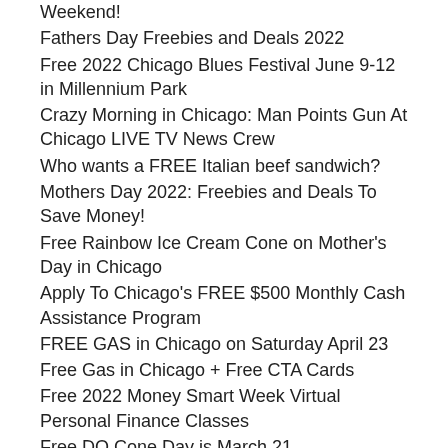Weekend!
Fathers Day Freebies and Deals 2022
Free 2022 Chicago Blues Festival June 9-12 in Millennium Park
Crazy Morning in Chicago: Man Points Gun At Chicago LIVE TV News Crew
Who wants a FREE Italian beef sandwich?
Mothers Day 2022: Freebies and Deals To Save Money!
Free Rainbow Ice Cream Cone on Mother's Day in Chicago
Apply To Chicago's FREE $500 Monthly Cash Assistance Program
FREE GAS in Chicago on Saturday April 23
Free Gas in Chicago + Free CTA Cards
Free 2022 Money Smart Week Virtual Personal Finance Classes
Free DQ Cone Day is March 21
REMINDER: St Patricks Day 2022 Parades+